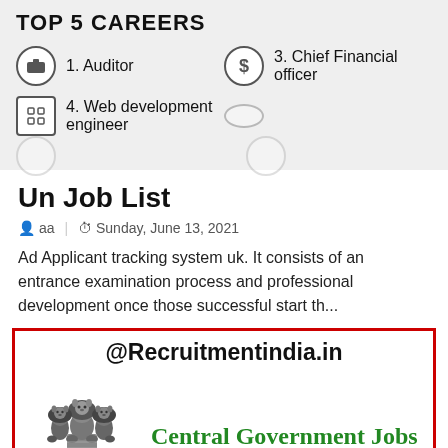[Figure (infographic): Top 5 Careers infographic snippet showing career options in a grey card: 1. Auditor with folder icon, 3. Chief Financial Officer with dollar sign icon, 4. Web development engineer with grid icon, and partially visible row below]
Un Job List
aa | Sunday, June 13, 2021
Ad Applicant tracking system uk. It consists of an entrance examination process and professional development once those successful start th...
[Figure (infographic): Advertisement box with red border for Recruitmentindia.in showing Indian national emblem (Ashoka Lions) with text 'सत्यमेव जयते' and 'Central Government Jobs' in green text]